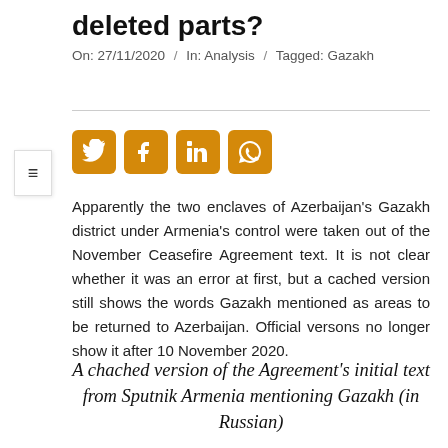deleted parts?
On: 27/11/2020  /  In: Analysis  /  Tagged: Gazakh
[Figure (infographic): Social media share icons: Twitter, Facebook, LinkedIn, WhatsApp in orange/gold square buttons]
Apparently the two enclaves of Azerbaijan's Gazakh district under Armenia's control were taken out of the November Ceasefire Agreement text. It is not clear whether it was an error at first, but a cached version still shows the words Gazakh mentioned as areas to be returned to Azerbaijan. Official versons no longer show it after 10 November 2020.
A chached version of the Agreement's initial text from Sputnik Armenia mentioning Gazakh (in Russian)